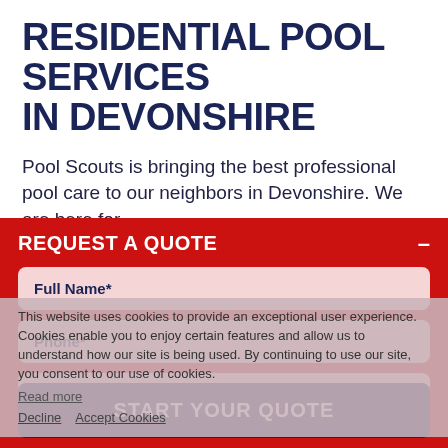RESIDENTIAL POOL SERVICES IN DEVONSHIRE
Pool Scouts is bringing the best professional pool care to our neighbors in Devonshire. We are here for
REQUEST A QUOTE
Full Name*
Phone*
Zip Code*
This website uses cookies to provide an exceptional user experience. Cookies enable you to enjoy certain features and allow us to understand how our site is being used. By continuing to use our site, you consent to our use of cookies.
Read more
Decline    Accept Cookies
START YOUR QUOTE